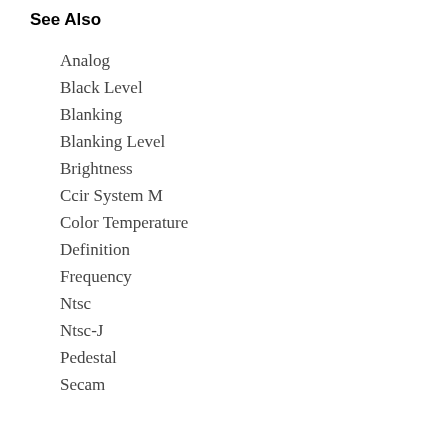See Also
Analog
Black Level
Blanking
Blanking Level
Brightness
Ccir System M
Color Temperature
Definition
Frequency
Ntsc
Ntsc-J
Pedestal
Secam